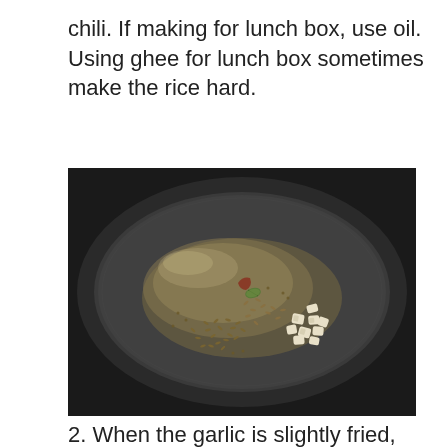chili. If making for lunch box, use oil. Using ghee for lunch box sometimes make the rice hard.
[Figure (photo): A dark non-stick frying pan viewed from above, showing oil pooled in the center of the pan with cumin seeds, chopped garlic, a cardamom pod, and a bay leaf or dried chili scattered in the oil.]
2. When the garlic is slightly fried, add 1¼